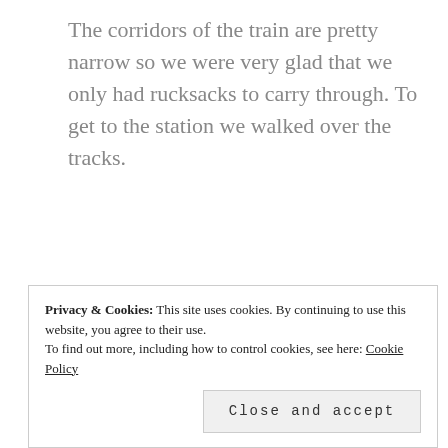The corridors of the train are pretty narrow so we were very glad that we only had rucksacks to carry through. To get to the station we walked over the tracks.
[Figure (photo): A train station platform with a long covered canopy/roof structure, colorful advertising banners visible along the platform, a train visible in the background, and a few people standing on the platform. The sky is overcast.]
Privacy & Cookies: This site uses cookies. By continuing to use this website, you agree to their use.
To find out more, including how to control cookies, see here: Cookie Policy